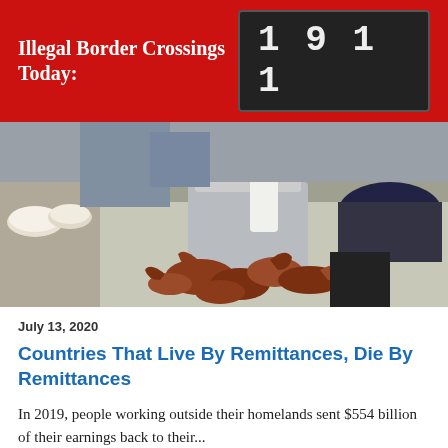Illegal Border Crossings Today: 1911
[Figure (photo): Workers dumping crabs from a large metal pot onto a stainless steel table in what appears to be a seafood processing facility.]
July 13, 2020
Countries That Live By Remittances, Die By Remittances
In 2019, people working outside their homelands sent $554 billion of their earnings back to their...
[Figure (photo): Partial view of a second article photo at the bottom of the page, appears to be an outdoor scene.]